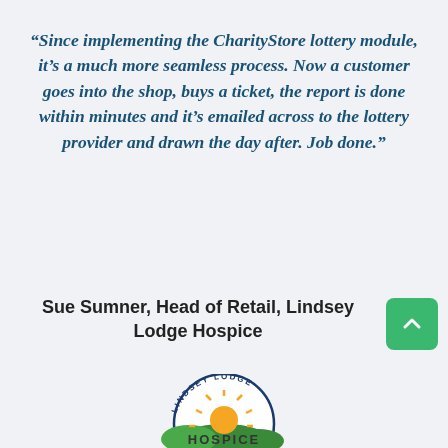“Since implementing the CharityStore lottery module, it’s a much more seamless process. Now a customer goes into the shop, buys a ticket, the report is done within minutes and it’s emailed across to the lottery provider and drawn the day after. Job done.”
Sue Sumner, Head of Retail, Lindsey Lodge Hospice
[Figure (logo): Lindsey Lodge Hospice logo with sun rising over green hills and circular text reading LINDSEY LODGE around the top]